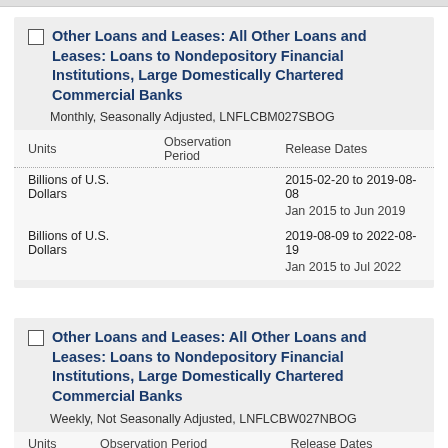Other Loans and Leases: All Other Loans and Leases: Loans to Nondepository Financial Institutions, Large Domestically Chartered Commercial Banks
Monthly, Seasonally Adjusted, LNFLCBM027SBOG
| Units | Observation Period | Release Dates |
| --- | --- | --- |
| Billions of U.S. Dollars |  | 2015-02-20 to 2019-08-08 |
|  |  | Jan 2015 to Jun 2019 |
| Billions of U.S. Dollars |  | 2019-08-09 to 2022-08-19 |
|  |  | Jan 2015 to Jul 2022 |
Other Loans and Leases: All Other Loans and Leases: Loans to Nondepository Financial Institutions, Large Domestically Chartered Commercial Banks
Weekly, Not Seasonally Adjusted, LNFLCBW027NBOG
| Units | Observation Period | Release Dates |
| --- | --- | --- |